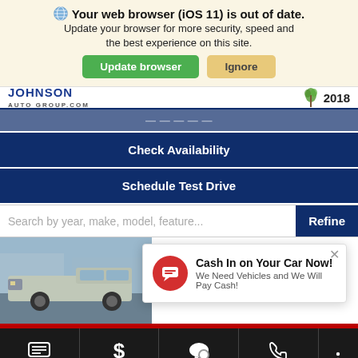Your web browser (iOS 11) is out of date. Update your browser for more security, speed and the best experience on this site.
Update browser | Ignore
[Figure (screenshot): Johnson Auto Group website header with logo and 2018 year badge]
Check Availability
Schedule Test Drive
Search by year, make, model, feature...
Refine
[Figure (photo): Partial view of a silver Ford F-150 truck]
Ford F-150 LARIAT
Cash In on Your Car Now! We Need Vehicles and We Will Pay Cash!
Contact Us | Eprice | Chat | Call Us